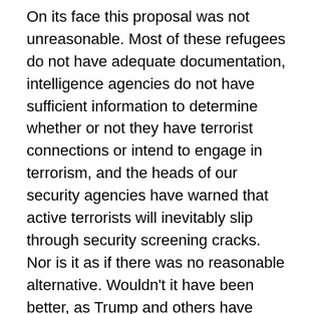On its face this proposal was not unreasonable. Most of these refugees do not have adequate documentation, intelligence agencies do not have sufficient information to determine whether or not they have terrorist connections or intend to engage in terrorism, and the heads of our security agencies have warned that active terrorists will inevitably slip through security screening cracks. Nor is it as if there was no reasonable alternative. Wouldn't it have been better, as Trump and others have suggested, to address the refugee crisis by setting up security zones in Syria or other Middle Eastern countries where refugees could find safety and where Muslim nations might feel obligated to help finance their care? In addition to making sense from a national security perspective, this would also have been a more humane solution, since it would not have uprooted the refugees from their homelands and